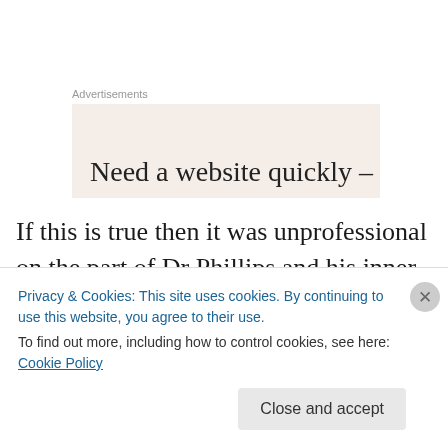Advertisements
[Figure (other): Advertisement banner with beige background showing partial text 'Need a website quickly –']
If this is true then it was unprofessional on the part of Dr Phillips and his inner circle not to advise their senior colleagues of such major developments within the PNP.
Surely there must be some private WhatsApp group amongst the senior PNP officials where such important
Privacy & Cookies: This site uses cookies. By continuing to use this website, you agree to their use.
To find out more, including how to control cookies, see here: Cookie Policy